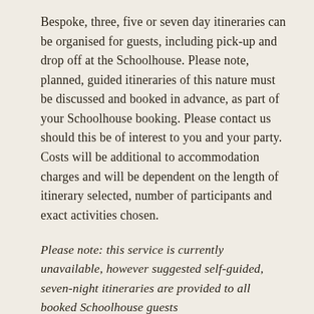Bespoke, three, five or seven day itineraries can be organised for guests, including pick-up and drop off at the Schoolhouse. Please note, planned, guided itineraries of this nature must be discussed and booked in advance, as part of your Schoolhouse booking. Please contact us should this be of interest to you and your party. Costs will be additional to accommodation charges and will be dependent on the length of itinerary selected, number of participants and exact activities chosen.
Please note: this service is currently unavailable, however suggested self-guided, seven-night itineraries are provided to all booked Schoolhouse guests